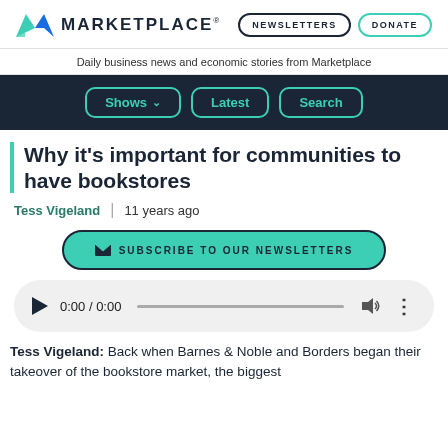MARKETPLACE
Daily business news and economic stories from Marketplace
Shows  Latest  Search
Why it's important for communities to have bookstores
Tess Vigeland  |  11 years ago
SUBSCRIBE TO OUR NEWSLETTERS
0:00 / 0:00
Tess Vigeland: Back when Barnes & Noble and Borders began their takeover of the bookstore market, the biggest